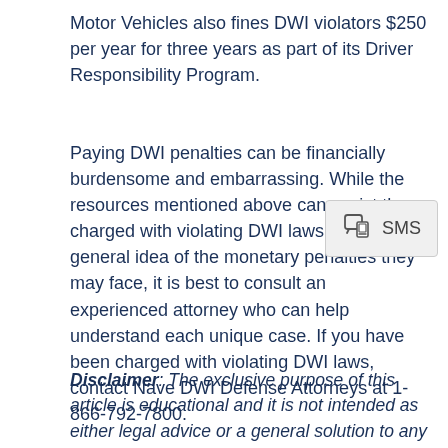Motor Vehicles also fines DWI violators $250 per year for three years as part of its Driver Responsibility Program.
Paying DWI penalties can be financially burdensome and embarrassing. While the resources mentioned above can assist those charged with violating DWI laws get a general idea of the monetary penalties they may face, it is best to consult an experienced attorney who can help understand each unique case. If you have been charged with violating DWI laws, contact Nave DWI Defense Attorneys at 1-866-792-7800.
[Figure (other): SMS share button popup overlay with chat/SMS icon and text 'SMS']
Disclaimer: The exclusive purpose of this article is educational and it is not intended as either legal advice or a general solution to any specific legal problem. Corporate offices for Nave DWI Defense Attorneys are